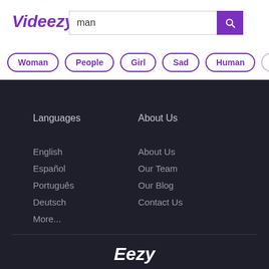Videezy
man
Woman
People
Girl
Sad
Human
Pe...
Languages
English
Español
Português
Deutsch
More...
About Us
About Us
Our Team
Our Blog
Contact Us
Eezy